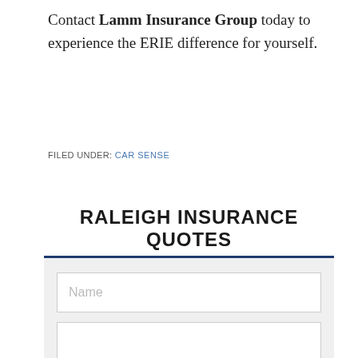Contact Lamm Insurance Group today to experience the ERIE difference for yourself.
FILED UNDER: CAR SENSE
RALEIGH INSURANCE QUOTES
[Figure (other): Web form with Name input field and a partially visible second input field below, on a light gray background below a dark blue horizontal rule.]